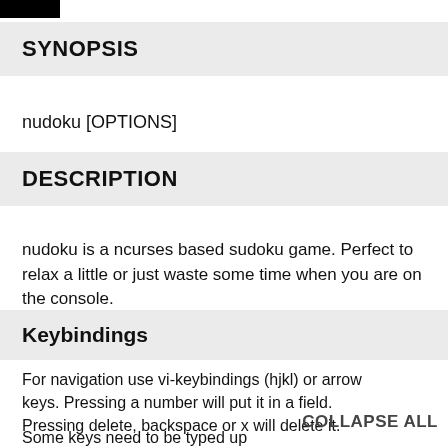SYNOPSIS
nudoku [OPTIONS]
DESCRIPTION
nudoku is a ncurses based sudoku game. Perfect to relax a little or just waste some time when you are on the console.
Keybindings
For navigation use vi-keybindings (hjkl) or arrow keys. Pressing a number will put it in a field. Pressing delete, backspace or x will delete it.
Some keys need to be typed up pressing them accidentally